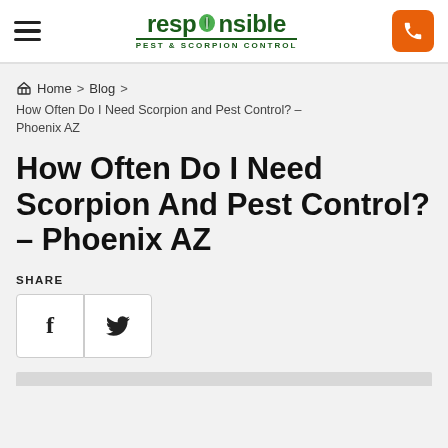[Figure (logo): Responsible Pest & Scorpion Control logo with green leaf icon and orange phone button in header]
Home > Blog > How Often Do I Need Scorpion and Pest Control? – Phoenix AZ
How Often Do I Need Scorpion And Pest Control? – Phoenix AZ
SHARE
[Figure (other): Facebook and Twitter share buttons]